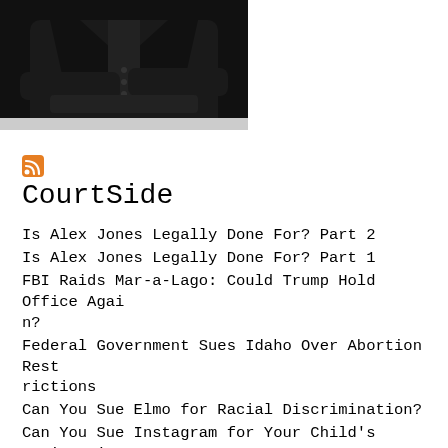[Figure (photo): Partial image of a person in a black suit jacket, torso and crossed arms visible, cropped at top]
[Figure (logo): RSS feed icon, orange square with white radio wave symbol]
CourtSide
Is Alex Jones Legally Done For? Part 2
Is Alex Jones Legally Done For? Part 1
FBI Raids Mar-a-Lago: Could Trump Hold Office Again?
Federal Government Sues Idaho Over Abortion Restrictions
Can You Sue Elmo for Racial Discrimination?
Can You Sue Instagram for Your Child's Eating Disorder?
What Could Infowars' Alex Jones Pay in Defamation